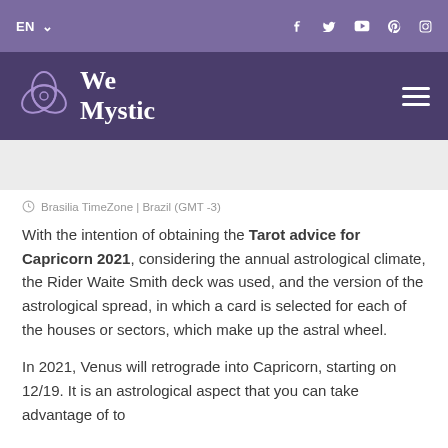EN | Social icons: Facebook, Twitter, YouTube, Pinterest, Instagram
[Figure (logo): WeMystic logo with triquetra symbol on dark purple background]
Brasilia TimeZone | Brazil (GMT -3)
With the intention of obtaining the Tarot advice for Capricorn 2021, considering the annual astrological climate, the Rider Waite Smith deck was used, and the version of the astrological spread, in which a card is selected for each of the houses or sectors, which make up the astral wheel.
In 2021, Venus will retrograde into Capricorn, starting on 12/19. It is an astrological aspect that you can take advantage of to